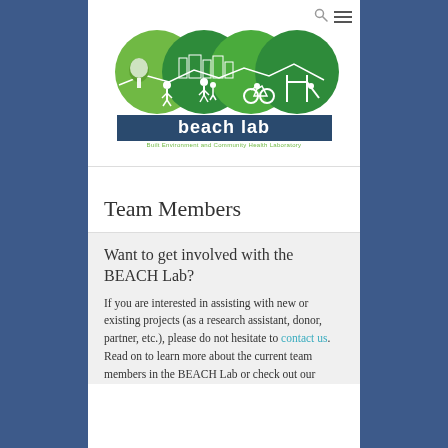[Figure (logo): BEACH Lab logo: four overlapping green circles with white silhouette illustrations of a park, people, cyclist, and playground above a dark blue rectangle with 'beach lab' text and subtitle 'Built Environment and Community Health Laboratory']
Team Members
Want to get involved with the BEACH Lab?
If you are interested in assisting with new or existing projects (as a research assistant, donor, partner, etc.), please do not hesitate to contact us. Read on to learn more about the current team members in the BEACH Lab or check out our